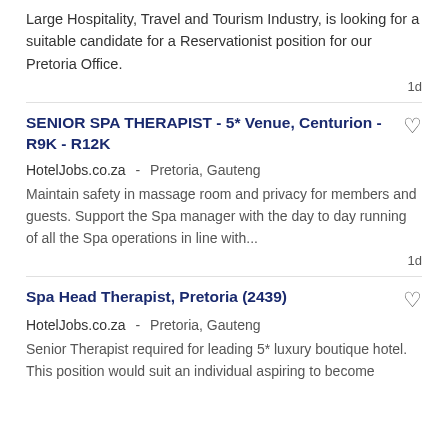Large Hospitality, Travel and Tourism Industry, is looking for a suitable candidate for a Reservationist position for our Pretoria Office.
1d
SENIOR SPA THERAPIST - 5* Venue, Centurion - R9K - R12K
HotelJobs.co.za -  Pretoria, Gauteng
Maintain safety in massage room and privacy for members and guests. Support the Spa manager with the day to day running of all the Spa operations in line with...
1d
Spa Head Therapist, Pretoria (2439)
HotelJobs.co.za -  Pretoria, Gauteng
Senior Therapist required for leading 5* luxury boutique hotel. This position would suit an individual aspiring to become